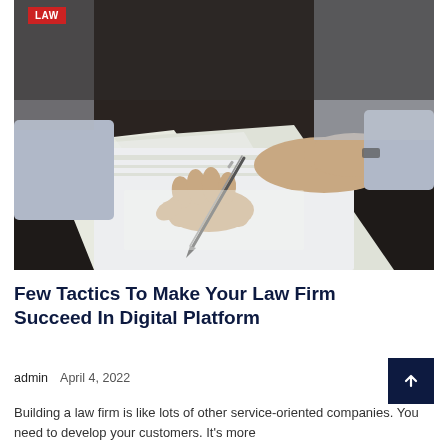[Figure (photo): Close-up photo of a person's hands signing or writing on documents/papers with a pen, on a dark desk. Person is wearing a light blue/grey shirt. A 'LAW' badge label is overlaid in the top-left corner of the image.]
Few Tactics To Make Your Law Firm Succeed In Digital Platform
admin   April 4, 2022
Building a law firm is like lots of other service-oriented companies. You need to develop your customers. It's more